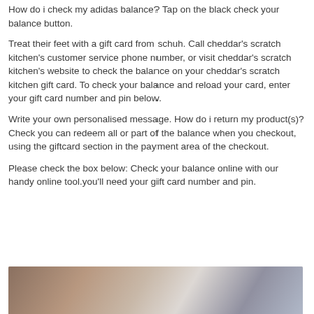How do i check my adidas balance? Tap on the black check your balance button.
Treat their feet with a gift card from schuh. Call cheddar's scratch kitchen's customer service phone number, or visit cheddar's scratch kitchen's website to check the balance on your cheddar's scratch kitchen gift card. To check your balance and reload your card, enter your gift card number and pin below.
Write your own personalised message. How do i return my product(s)? Check you can redeem all or part of the balance when you checkout, using the giftcard section in the payment area of the checkout.
Please check the box below: Check your balance online with our handy online tool.you'll need your gift card number and pin.
[Figure (photo): A partial photo of a person, showing a blurred close-up with a gray/blue fabric and skin tones visible]